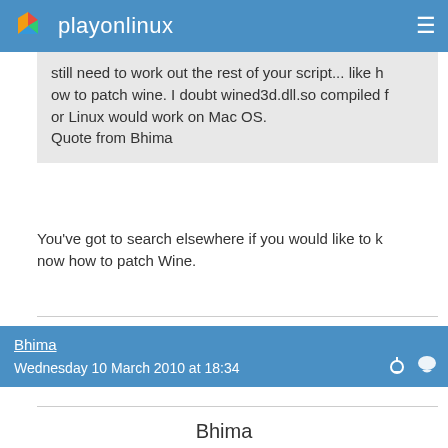playonlinux
still need to work out the rest of your script... like how to patch wine. I doubt wined3d.dll.so compiled for Linux would work on Mac OS.
Quote from Bhima
You've got to search elsewhere if you would like to know how to patch Wine.
Bhima
Wednesday 10 March 2010 at 18:34
Bhima